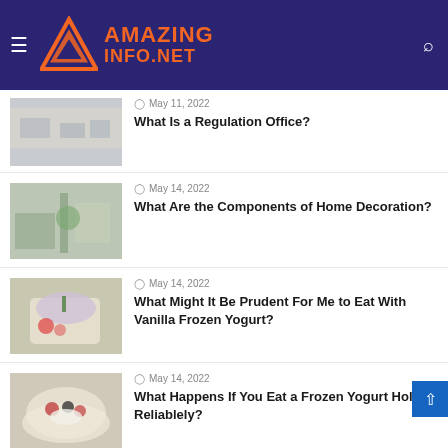AmazingInfo.net
May 11, 2022 – What Is a Regulation Office?
May 14, 2022 – What Are the Components of Home Decoration?
May 14, 2022 – What Might It Be Prudent For Me to Eat With Vanilla Frozen Yogurt?
May 14, 2022 – What Happens If You Eat a Frozen Yogurt Holder Reliablely?
May 14, 2022 – What is Some Extraordinary Food in